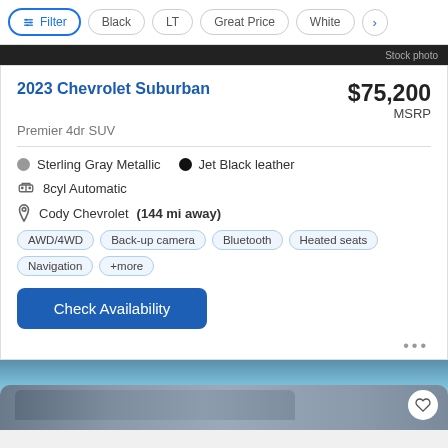Filter | Black | LT | Great Price | White | >
Stock photo
2023 Chevrolet Suburban
$75,200 MSRP
Premier 4dr SUV
Sterling Gray Metallic   Jet Black leather
8cyl Automatic
Cody Chevrolet (144 mi away)
AWD/4WD   Back-up camera   Bluetooth   Heated seats   Navigation   +more
Check Availability
[Figure (photo): Bottom portion of a vehicle listing page showing a partial car image]